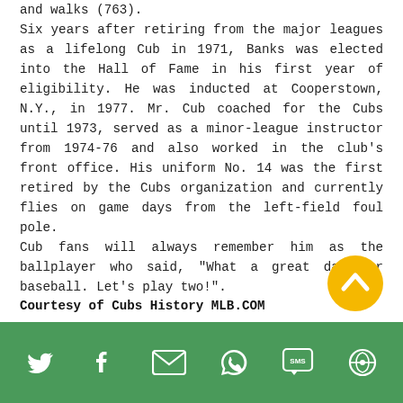and walks (763).
Six years after retiring from the major leagues as a lifelong Cub in 1971, Banks was elected into the Hall of Fame in his first year of eligibility. He was inducted at Cooperstown, N.Y., in 1977. Mr. Cub coached for the Cubs until 1973, served as a minor-league instructor from 1974-76 and also worked in the club's front office. His uniform No. 14 was the first retired by the Cubs organization and currently flies on game days from the left-field foul pole.
Cub fans will always remember him as the ballplayer who said, "What a great day for baseball. Let's play two!".
Courtesy of Cubs History MLB.COM
Social share icons: Twitter, Facebook, Email, WhatsApp, SMS, Other